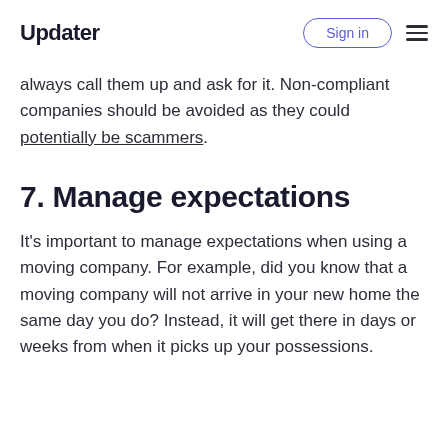Updater | Sign in
always call them up and ask for it. Non-compliant companies should be avoided as they could potentially be scammers.
7. Manage expectations
It's important to manage expectations when using a moving company. For example, did you know that a moving company will not arrive in your new home the same day you do? Instead, it will get there in days or weeks from when it picks up your possessions.